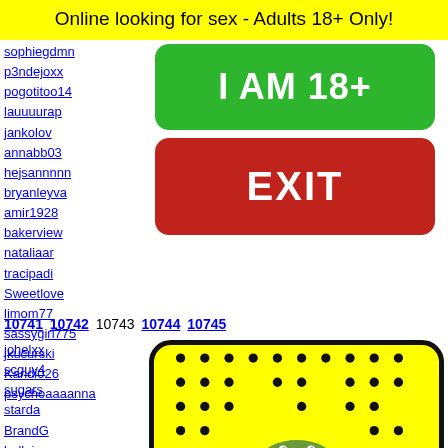Online looking for sex - Adults 18+ Only!
sophiegdmn
p3ndejoxx
pogotitoo14
lauuuurap
jankolov
annabb03
hejsannnnn
bryanleyva
amir1928
bakerview
nataliaar
tracipadi
Sweetlove
limom77
sassygirl775
jkucurski
Kandi026
psychoaaaanna
10741 10742 10743 10744 10745
johelxx
scguy4
sugars
starda
BrandG
bellai
shesgo
[Figure (illustration): Yellow rounded rectangle with black dots pattern and a character peeking from the bottom]